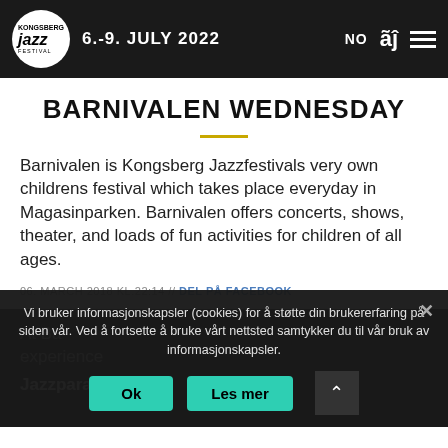Kongsberg Jazz Festival — 6.-9. July 2022
BARNIVALEN WEDNESDAY
Barnivalen is Kongsberg Jazzfestivals very own childrens festival which takes place everyday in Magasinparken. Barnivalen offers concerts, shows, theater, and loads of fun activities for children of all ages.
06. MARCH 2018 KL.22:14 // DEL PÅ FACEBOOK
At Barnivalen Wednesday experience...
Jazzparade
Vi bruker informasjonskapsler (cookies) for å støtte din brukererfaring på siden vår. Ved å fortsette å bruke vårt nettsted samtykker du til vår bruk av informasjonskapsler.